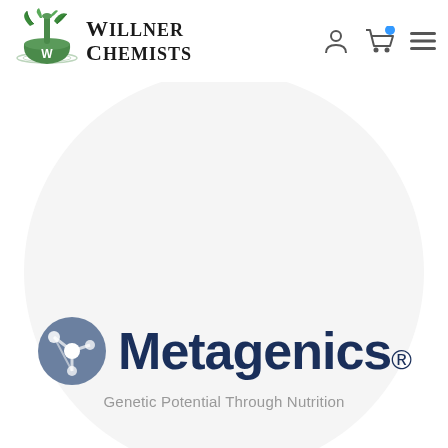[Figure (logo): Willner Chemists logo with mortar and pestle icon and serif text 'Willner Chemists']
[Figure (logo): Navigation icons: user account icon, shopping cart icon with blue badge, hamburger menu icon]
[Figure (logo): Metagenics brand logo inside a light gray circle background. Shows molecular icon on left and 'Metagenics' in dark navy bold text with registered trademark symbol. Tagline: 'Genetic Potential Through Nutrition']
Genetic Potential Through Nutrition